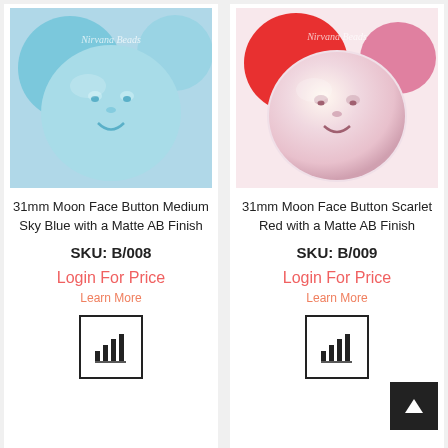[Figure (photo): Group of blue moon face buttons with matte AB finish]
31mm Moon Face Button Medium Sky Blue with a Matte AB Finish
SKU: B/008
Login For Price
Learn More
[Figure (other): Bar chart icon in a square border]
[Figure (photo): Group of scarlet red moon face buttons with matte AB finish]
31mm Moon Face Button Scarlet Red with a Matte AB Finish
SKU: B/009
Login For Price
Learn More
[Figure (other): Bar chart icon in a square border]